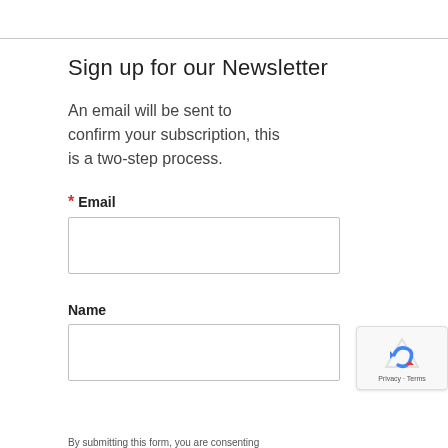Sign up for our Newsletter
An email will be sent to confirm your subscription, this is a two-step process.
* Email
Name
By submitting this form, you are consenting